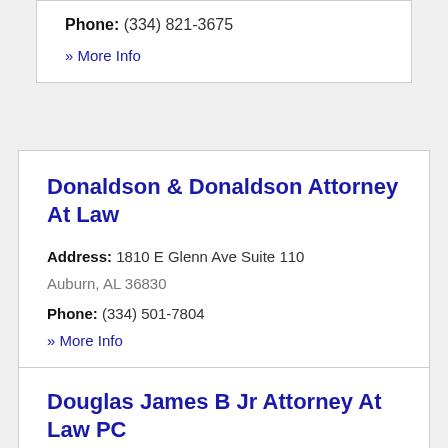Phone: (334) 821-3675
» More Info
Donaldson & Donaldson Attorney At Law
Address: 1810 E Glenn Ave Suite 110 Auburn, AL 36830
Phone: (334) 501-7804
» More Info
Douglas James B Jr Attorney At Law PC
Address: 805 Salmon Street Auburn, AL 36830
Phone: (334) 745-7075